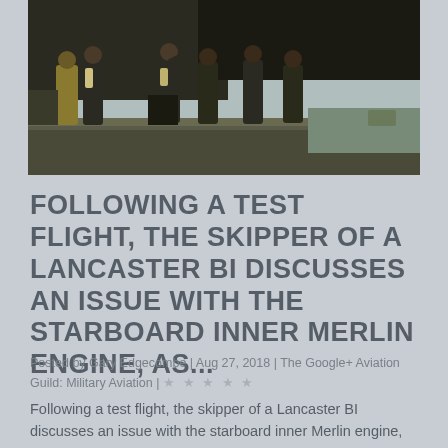[Figure (photo): A group of WWII-era airmen in flight gear standing near a Lancaster bomber aircraft on an airfield, discussing something.]
FOLLOWING A TEST FLIGHT, THE SKIPPER OF A LANCASTER BI DISCUSSES AN ISSUE WITH THE STARBOARD INNER MERLIN ENGINE, AS...
Posted by Gary Edgecombe | Aug 27, 2018 | The Google+ Aviation Guild: Military Aviation | ★★★★★
Following a test flight, the skipper of a Lancaster BI discusses an issue with the starboard inner Merlin engine, as...